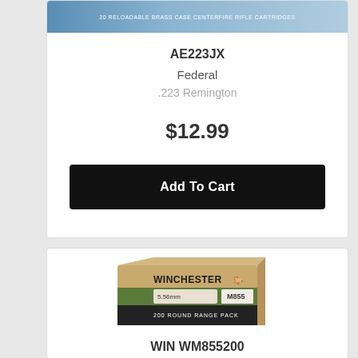[Figure (photo): Federal ammunition box image - 20 reloadable brass case centerfire rifle cartridges, shown at top of first product card]
AE223JX
Federal
.223 Remington
$12.99
Add To Cart
[Figure (photo): Winchester M855 5.56mm 200 Round Range Pack ammunition box, cardboard box with green and black labeling]
WIN WM855200